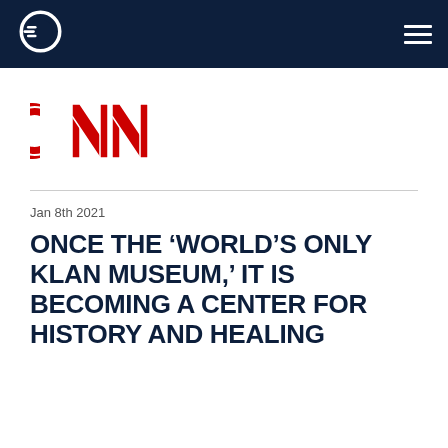[Figure (logo): CNN red logo with white outline letters 'CNN']
Jan 8th 2021
ONCE THE ‘WORLD’S ONLY KLAN MUSEUM,’ IT IS BECOMING A CENTER FOR HISTORY AND HEALING